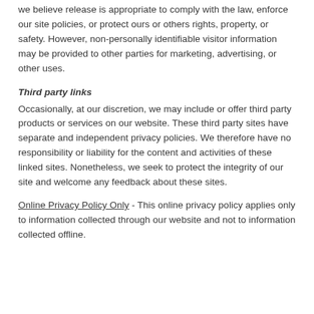we believe release is appropriate to comply with the law, enforce our site policies, or protect ours or others rights, property, or safety. However, non-personally identifiable visitor information may be provided to other parties for marketing, advertising, or other uses.
Third party links
Occasionally, at our discretion, we may include or offer third party products or services on our website. These third party sites have separate and independent privacy policies. We therefore have no responsibility or liability for the content and activities of these linked sites. Nonetheless, we seek to protect the integrity of our site and welcome any feedback about these sites.
Online Privacy Policy Only - This online privacy policy applies only to information collected through our website and not to information collected offline.